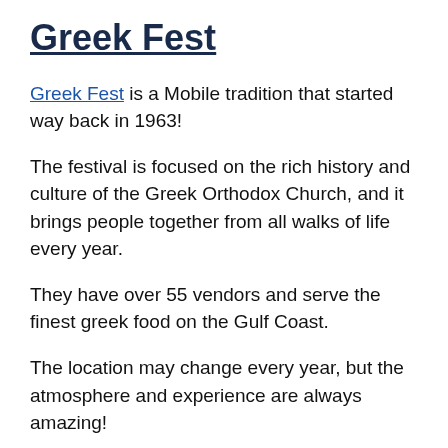Greek Fest
Greek Fest is a Mobile tradition that started way back in 1963!
The festival is focused on the rich history and culture of the Greek Orthodox Church, and it brings people together from all walks of life every year.
They have over 55 vendors and serve the finest greek food on the Gulf Coast.
The location may change every year, but the atmosphere and experience are always amazing!
They have shops, wine, dancing, and kids'